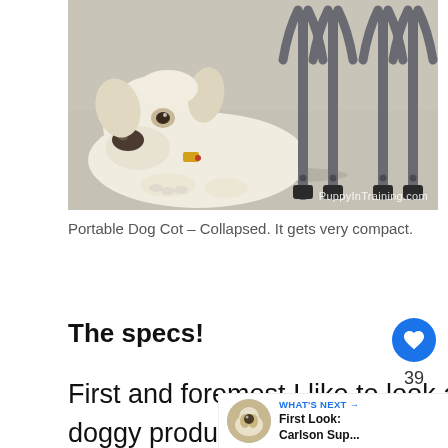[Figure (photo): A white/cream golden retriever dog lying on a concrete floor next to a collapsed portable dog cot with grey metal frame legs. Watermark reads PuppyInTraining.com.]
Portable Dog Cot – Collapsed. It gets very compact.
The specs!
First and foremost I like to look at the details of any new doggy product I bring home: